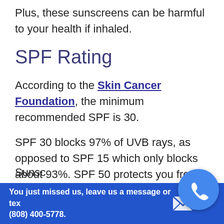Plus, these sunscreens can be harmful to your health if inhaled.
SPF Rating
According to the Skin Cancer Foundation, the minimum recommended SPF is 30.
SPF 30 blocks 97% of UVB rays, as opposed to SPF 15 which only blocks about 93%. SPF 50 protects you from 98% of UVB rays.
Sunsc…
You just missed us, leave us a message or text (808) 400-5778.